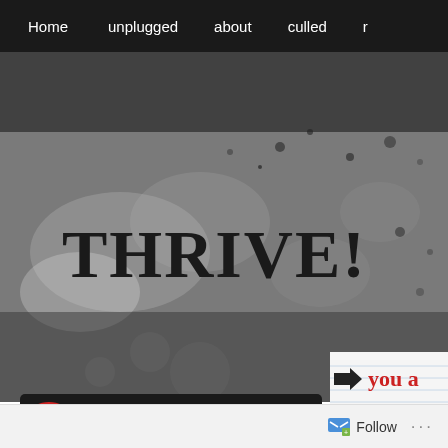Home | unplugged | about | culled | r
[Figure (screenshot): Website screenshot showing a dark grunge-textured hero area with the blog title THRIVE! in large serif font, an email subscription bar at bottom left, and a partial right panel showing red text 'you a' with an arrow, post metadata, and lined paper background.]
THRIVE!
EMAIL SUBSCRIPTION
Enter your email address to follow this blog and receive notifications of new posts by email.
→ you a
Posted: June
Tags: doing s
Follow ...